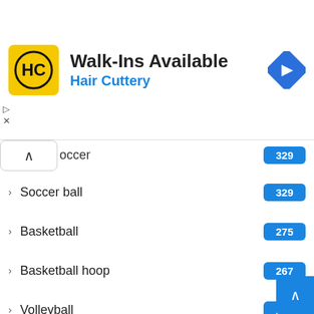[Figure (screenshot): Hair Cuttery advertisement banner with logo, 'Walk-Ins Available' heading, blue subtitle 'Hair Cuttery', and a blue navigation arrow icon on the right.]
Soccer 329
Soccer ball 329
Basketball 275
Basketball hoop 267
Volleyball 253
Literature 166
Badminton 133
Kickball 91
Spikeball 86
Handball 82
Tetherball 72